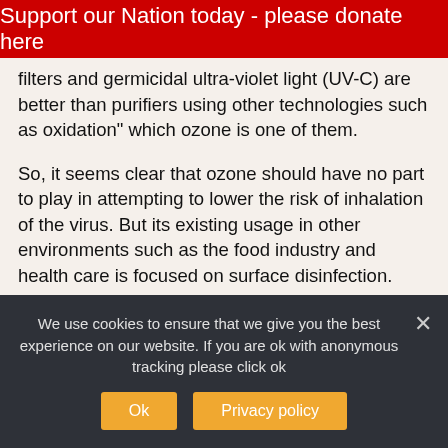Support our Nation today - please donate here
filters and germicidal ultra-violet light (UV-C) are better than purifiers using other technologies such as oxidation" which ozone is one of them.
So, it seems clear that ozone should have no part to play in attempting to lower the risk of inhalation of the virus. But its existing usage in other environments such as the food industry and health care is focused on surface disinfection.
Yet we should ask, is surface cleaning worth over half of the funds for technological prevention in our educational establishments? Are sterile
We use cookies to ensure that we give you the best experience on our website. If you are ok with anonymous tracking please click ok
Ok
Privacy policy